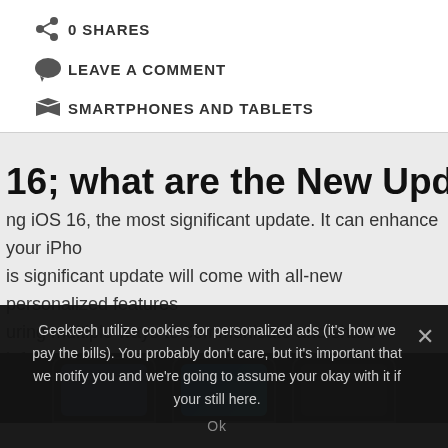0 SHARES
LEAVE A COMMENT
SMARTPHONES AND TABLETS
[Figure (screenshot): Partial article preview image showing iPhones at the bottom on a dark background with a light gray content area above showing article title and excerpt text about iOS 16 updates]
16; what are the New Upda
ng iOS 16, the most significant update. It can enhance your iPho is significant update will come with all-new personalized features uring multiple ways to communicate and share information.
Geektech utilize cookies for personalized ads (it's how we pay the bills). You probably don't care, but it's important that we notify you and we're going to assume your okay with it if your still here.
Ok